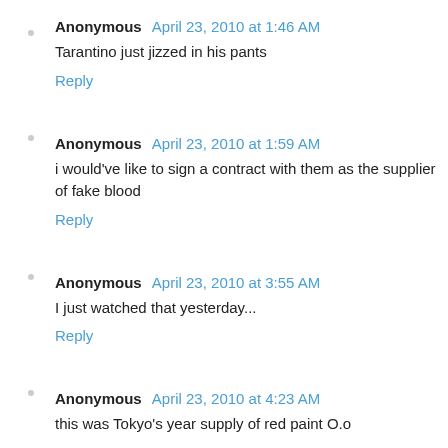Anonymous  April 23, 2010 at 1:46 AM
Tarantino just jizzed in his pants
Reply
Anonymous  April 23, 2010 at 1:59 AM
i would've like to sign a contract with them as the supplier of fake blood
Reply
Anonymous  April 23, 2010 at 3:55 AM
I just watched that yesterday...
Reply
Anonymous  April 23, 2010 at 4:23 AM
this was Tokyo's year supply of red paint O.o